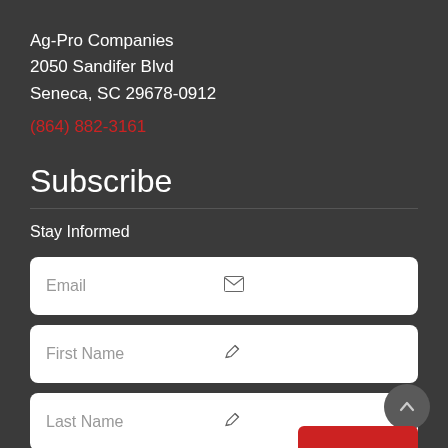Ag-Pro Companies
2050 Sandifer Blvd
Seneca, SC 29678-0912
(864) 882-3161
Subscribe
Stay Informed
Email
First Name
Last Name